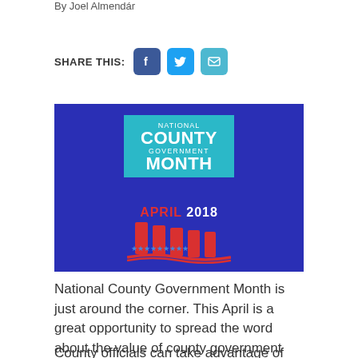By Joel Almendár
SHARE THIS:
[Figure (logo): National County Government Month April 2018 banner logo with teal header box, dark blue background, red pillars, and wave stripes]
National County Government Month is just around the corner. This April is a great opportunity to spread the word about the value of county government and how your county delivers to Texans every day.
County officials can take advantage of tools and